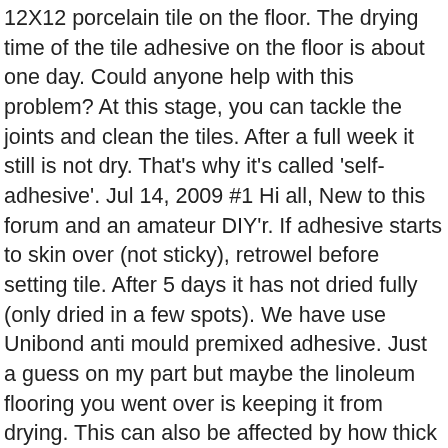12X12 porcelain tile on the floor. The drying time of the tile adhesive on the floor is about one day. Could anyone help with this problem? At this stage, you can tackle the joints and clean the tiles. After a full week it still is not dry. That's why it's called 'self-adhesive'. Jul 14, 2009 #1 Hi all, New to this forum and an amateur DIY'r. If adhesive starts to skin over (not sticky), retrowel before setting tile. After 5 days it has not dried fully (only dried in a few spots). We have use Unibond anti mould premixed adhesive. Just a guess on my part but maybe the linoleum flooring you went over is keeping it from drying. This can also be affected by how thick you laid it down. I've seen a lot of issues using these premixed type stuff, especially on floors. Traditional versions are cement-based powders that are mixed with water prior to application. Flexible tile adhesive: A